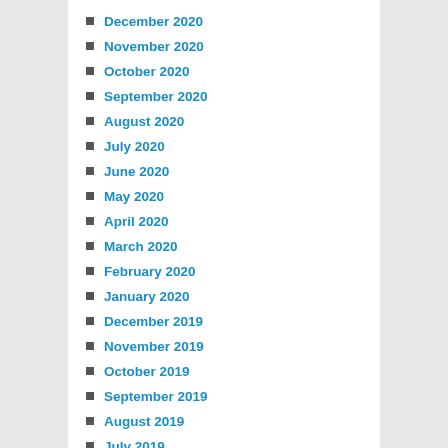December 2020
November 2020
October 2020
September 2020
August 2020
July 2020
June 2020
May 2020
April 2020
March 2020
February 2020
January 2020
December 2019
November 2019
October 2019
September 2019
August 2019
July 2019
June 2019
May 2019
April 2019